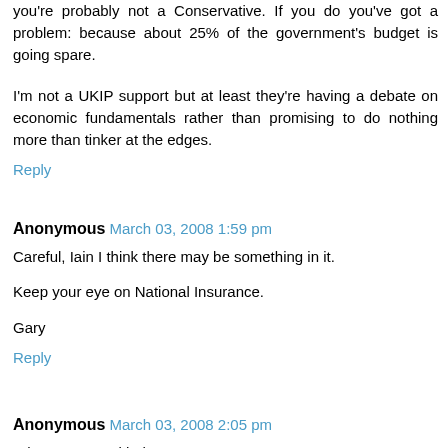you're probably not a Conservative. If you do you've got a problem: because about 25% of the government's budget is going spare.
I'm not a UKIP support but at least they're having a debate on economic fundamentals rather than promising to do nothing more than tinker at the edges.
Reply
Anonymous March 03, 2008 1:59 pm
Careful, Iain I think there may be something in it.
Keep your eye on National Insurance.
Gary
Reply
Anonymous March 03, 2008 2:05 pm
What's wrong with that?